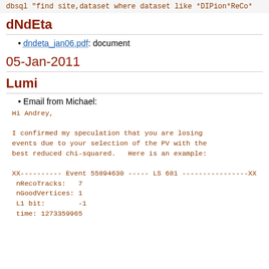dbsql "find site,dataset where dataset like *DIPion*ReCo*"
dNdEta
dndeta_jan06.pdf: document
05-Jan-2011
Lumi
Email from Michael:
Hi Andrey,

I confirmed my speculation that you are losing events due to your selection of the PV with the best reduced chi-squared.   Here is an example:

XX---------- Event 55894630 ----- LS 681 ----------------XX
 nRecoTracks:   7
 nGoodVertices: 1
 L1 bit:        -1
 time: 1273359965